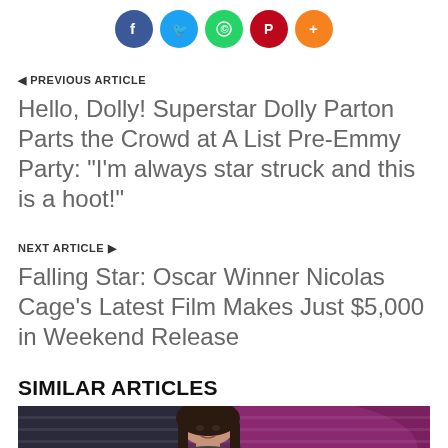[Figure (other): Social media share buttons: Facebook (blue), Twitter (light blue), WhatsApp (green), Pinterest (red), More (orange)]
PREVIOUS ARTICLE
Hello, Dolly! Superstar Dolly Parton Parts the Crowd at A List Pre-Emmy Party: "I'm always star struck and this is a hoot!"
NEXT ARTICLE
Falling Star: Oscar Winner Nicolas Cage's Latest Film Makes Just $5,000 in Weekend Release
SIMILAR ARTICLES
[Figure (photo): Photo of a woman with long dark hair in front of an American flag background]